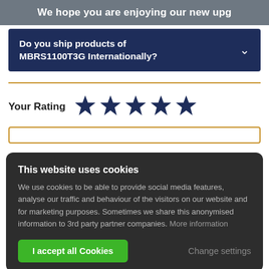We hope you are enjoying our new upg
Do you ship products of MBRS1100T3G Internationally?
Your Rating ★★★★★
This website uses cookies
We use cookies to be able to provide social media features, analyse our traffic and behaviour of the visitors on our website and for marketing purposes. Sometimes we share this anonymised information to 3rd party partner companies. More information
I accept all Cookies
Change settings